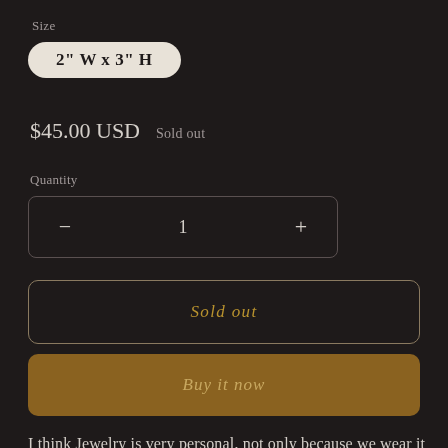Size
2" W x 3" H
$45.00 USD   Sold out
Quantity
− 1 +
Sold out
Buy it now
I think Jewelry is very personal, not only because we wear it always in contact with our bodies, but also because to me, that contact also means connection.